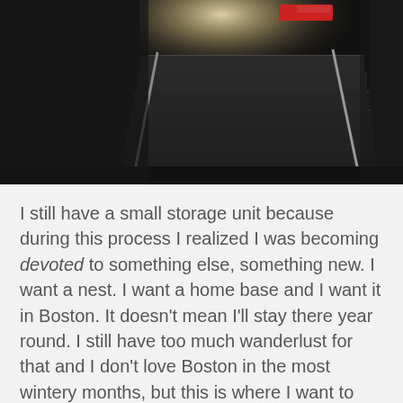[Figure (photo): A dark photograph of a staircase leading upward toward a bright light at the top. The stairs appear to be concrete or stone with metal railings, in a dimly lit underground or indoor setting.]
I still have a small storage unit because during this process I realized I was becoming devoted to something else, something new. I want a nest. I want a home base and I want it in Boston. It doesn't mean I'll stay there year round. I still have too much wanderlust for that and I don't love Boston in the most wintery months, but this is where I want to take a few of the items that really touch my heart and soul and lovingly unpack